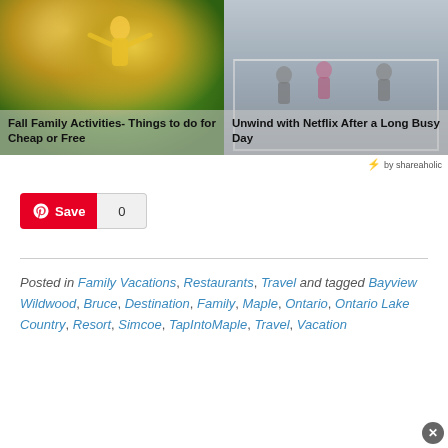[Figure (photo): Fall family activities photo showing person in yellow jacket with autumn leaves]
Fall Family Activities- Things to do for Cheap or Free
[Figure (photo): People in a boxing or dance studio setting - Unwind with Netflix After a Long Busy Day]
Unwind with Netflix After a Long Busy Day
⚡ by shareaholic
[Figure (other): Pinterest Save button with count 0]
Posted in Family Vacations, Restaurants, Travel and tagged Bayview Wildwood, Bruce, Destination, Family, Maple, Ontario, Ontario Lake Country, Resort, Simcoe, TapIntoMaple, Travel, Vacation